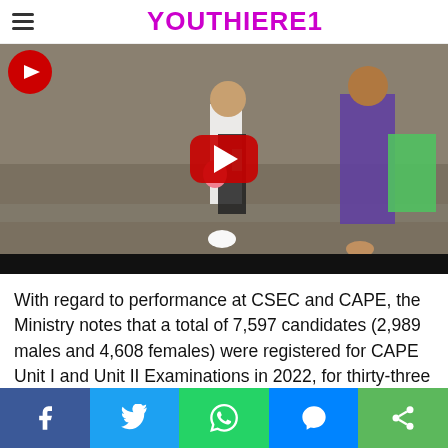Youthiere1
[Figure (screenshot): YouTube video thumbnail showing a child and adult walking on a sidewalk, with a red YouTube play button in the center.]
With regard to performance at CSEC and CAPE, the Ministry notes that a total of 7,597 candidates (2,989 males and 4,608 females) were registered for CAPE Unit I and Unit II Examinations in 2022, for thirty-three (33) Unit I and thirty (30) Unit II subjects.